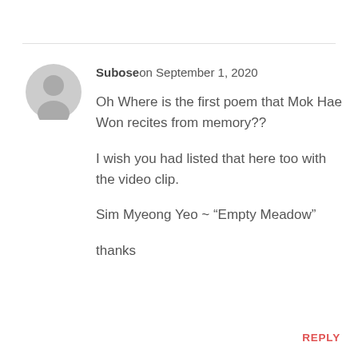Subose on September 1, 2020
Oh Where is the first poem that Mok Hae Won recites from memory??
I wish you had listed that here too with the video clip.
Sim Myeong Yeo ~ “Empty Meadow”
thanks
REPLY